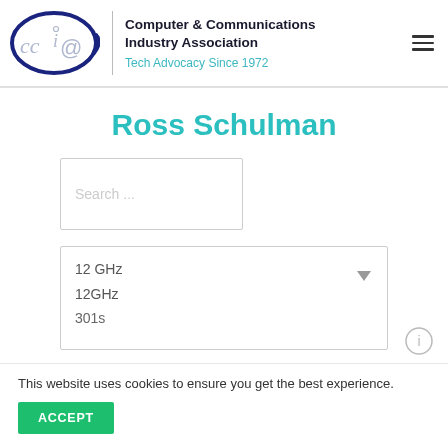[Figure (logo): CCIA (Computer & Communications Industry Association) logo with an oval/ellipse shape containing 'ccia' text with an '@' symbol incorporated, in dark navy blue color]
Computer & Communications Industry Association
Tech Advocacy Since 1972
Ross Schulman
Search ...
12 GHz
12GHz
301s
This website uses cookies to ensure you get the best experience.
ACCEPT